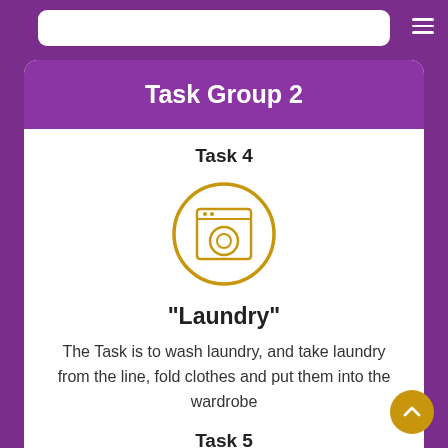Task Group 2
Task 4
[Figure (illustration): Washing machine icon inside a gold circle]
"Laundry"
The Task is to wash laundry, and take laundry from the line, fold clothes and put them into the wardrobe
Task 5